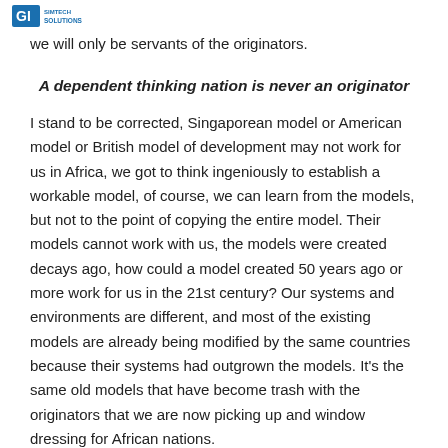GI Solutions
we will only be servants of the originators.
A dependent thinking nation is never an originator
I stand to be corrected, Singaporean model or American model or British model of development may not work for us in Africa, we got to think ingeniously to establish a workable model, of course, we can learn from the models, but not to the point of copying the entire model. Their models cannot work with us, the models were created decays ago, how could a model created 50 years ago or more work for us in the 21st century? Our systems and environments are different, and most of the existing models are already being modified by the same countries because their systems had outgrown the models. It's the same old models that have become trash with the originators that we are now picking up and window dressing for African nations.